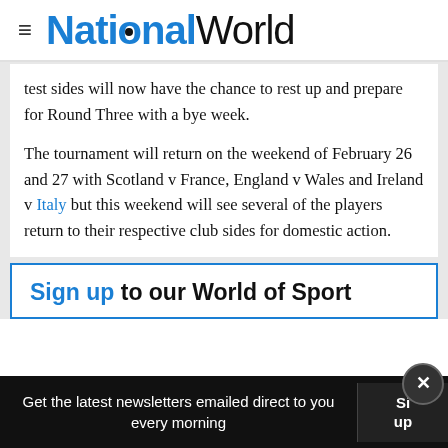NationalWorld
test sides will now have the chance to rest up and prepare for Round Three with a bye week.
The tournament will return on the weekend of February 26 and 27 with Scotland v France, England v Wales and Ireland v Italy but this weekend will see several of the players return to their respective club sides for domestic action.
Sign up to our World of Sport
Get the latest newsletters emailed direct to you every morning